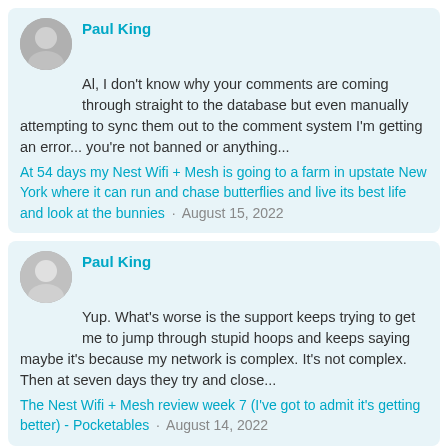Paul King
Al, I don't know why your comments are coming through straight to the database but even manually attempting to sync them out to the comment system I'm getting an error... you're not banned or anything...
At 54 days my Nest Wifi + Mesh is going to a farm in upstate New York where it can run and chase butterflies and live its best life and look at the bunnies · August 15, 2022
Paul King
Yup. What's worse is the support keeps trying to get me to jump through stupid hoops and keeps saying maybe it's because my network is complex. It's not complex. Then at seven days they try and close...
The Nest Wifi + Mesh review week 7 (I've got to admit it's getting better) - Pocketables · August 14, 2022
darksparda4